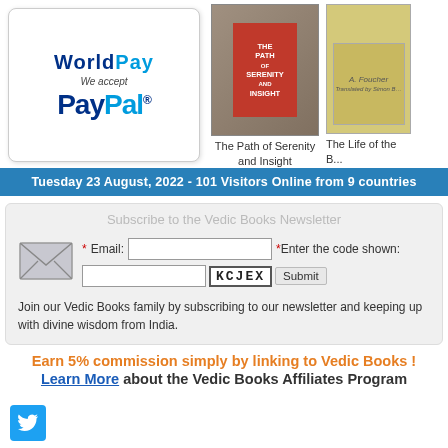[Figure (logo): WorldPay payment logo with PayPal acceptance badge]
[Figure (photo): Book cover: The Path of Serenity and Insight with red inset panel]
The Path of Serenity and Insight
[Figure (photo): Book cover: The Life of the B... with yellow background and Buddha image]
The Life of the B...
Tuesday 23 August, 2022  - 101 Visitors Online  from 9 countries
Subscribe to the Vedic Books Newsletter
*Email: [input] *Enter the code shown: [captcha: KCJEX] [Submit]
Join our Vedic Books family by subscribing to our newsletter and keeping up with divine wisdom from India.
Earn 5% commission simply by linking to Vedic Books !
Learn More about the Vedic Books Affiliates Program
[Figure (logo): Twitter/social media icon button (blue)]